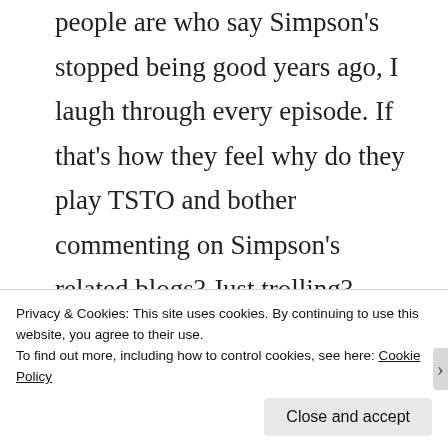people are who say Simpson's stopped being good years ago, I laugh through every episode. If that's how they feel why do they play TSTO and bother commenting on Simpson's related blogs? Just trolling?
Privacy & Cookies: This site uses cookies. By continuing to use this website, you agree to their use.
To find out more, including how to control cookies, see here: Cookie Policy